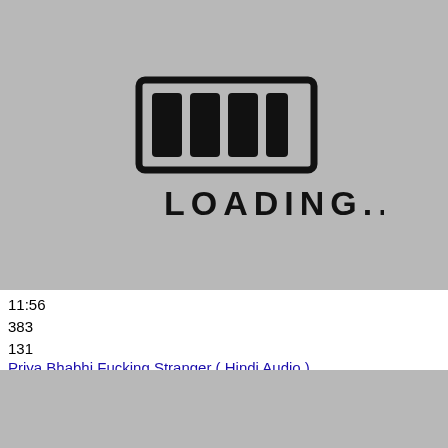[Figure (illustration): Loading screen placeholder image with a hand-drawn style progress bar graphic and the text LOADING... below it, on a gray background.]
11:56
383
131
Priya Bhabhi Fucking Stranger ( Hindi Audio )